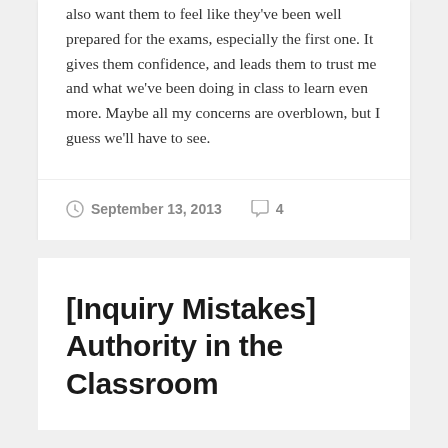also want them to feel like they've been well prepared for the exams, especially the first one. It gives them confidence, and leads them to trust me and what we've been doing in class to learn even more. Maybe all my concerns are overblown, but I guess we'll have to see.
September 13, 2013   4
[Inquiry Mistakes] Authority in the Classroom